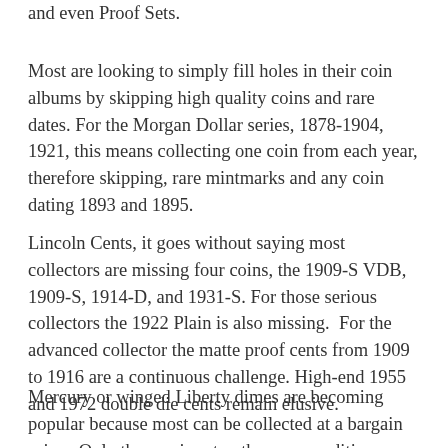and even Proof Sets.
Most are looking to simply fill holes in their coin albums by skipping high quality coins and rare dates. For the Morgan Dollar series, 1878-1904, 1921, this means collecting one coin from each year, therefore skipping, rare mintmarks and any coin dating 1893 and 1895.
Lincoln Cents, it goes without saying most collectors are missing four coins, the 1909-S VDB, 1909-S, 1914-D, and 1931-S. For those serious collectors the 1922 Plain is also missing.  For the advanced collector the matte proof cents from 1909 to 1916 are a continuous challenge. High-end 1955 and 1972 double die cents remain elusive.
Mercury or winged Liberty dimes are becoming popular because most can be collected at a bargain price.  Only three coins stop the, any condition, collection from being